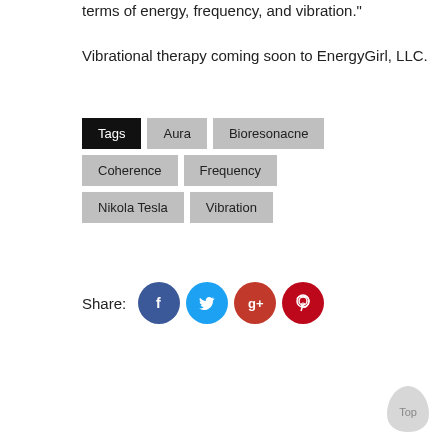terms of energy, frequency, and vibration."
Vibrational therapy coming soon to EnergyGirl, LLC.
Tags  Aura  Bioresonacne  Coherence  Frequency  Nikola Tesla  Vibration
Share: